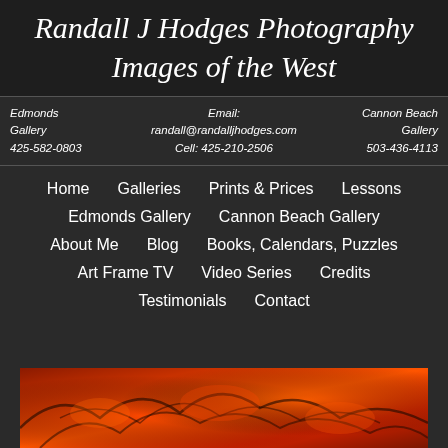Randall J Hodges Photography
Images of the West
Edmonds Gallery 425-582-0803 | Email: randall@randalljhodges.com Cell: 425-210-2506 | Cannon Beach Gallery 503-436-4113
Home
Galleries
Prints & Prices
Lessons
Edmonds Gallery
Cannon Beach Gallery
About Me
Blog
Books, Calendars, Puzzles
Art Frame TV
Video Series
Credits
Testimonials
Contact
[Figure (photo): Red and orange autumn foliage photograph at bottom of page]